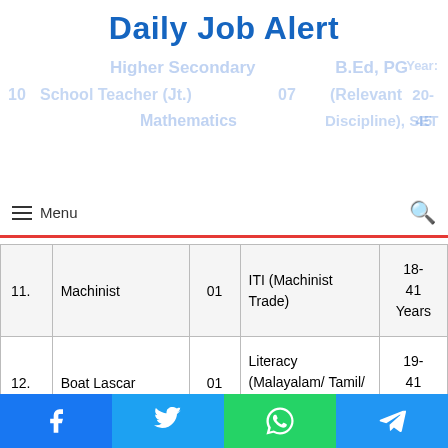Daily Job Alert
| No. | Post | Vacancy | Qualification | Age |
| --- | --- | --- | --- | --- |
| 11. | Machinist | 01 | ITI (Machinist Trade) | 18-41 Years |
| 12. | Boat Lascar | 01 | Literacy (Malayalam/ Tamil/ Kannada) | 19-41 Years |
| 13. | Pharmacist Grade II | 10 | SSLC or Equivalent | 18-41 Years |